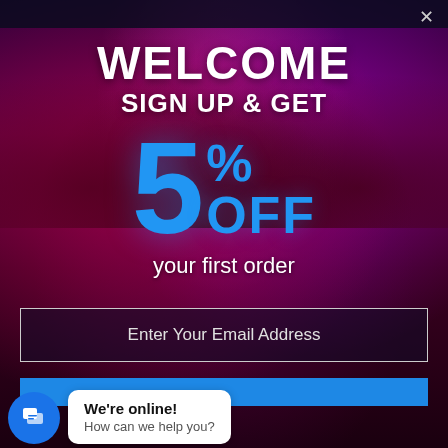[Figure (screenshot): Concert crowd background with purple and magenta stage lighting, silhouettes of people with hands raised]
WELCOME
SIGN UP & GET
5% OFF
your first order
Enter Your Email Address
We're online!
How can we help you?